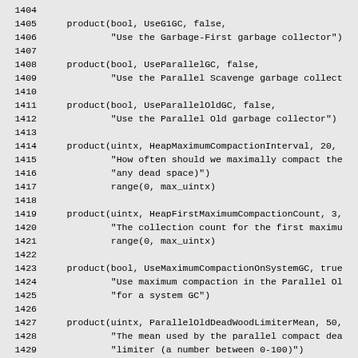1404-1433: Source code listing showing product() macro calls for JVM garbage collector flags including UseG1GC, UseParallelGC, UseParallelOldGC, HeapMaximumCompactionInterval, HeapFirstMaximumCompactionCount, UseMaximumCompactionOnSystemGC, ParallelOldDeadWoodLimiterMean, ParallelOldDeadWoodLimiterStdDev